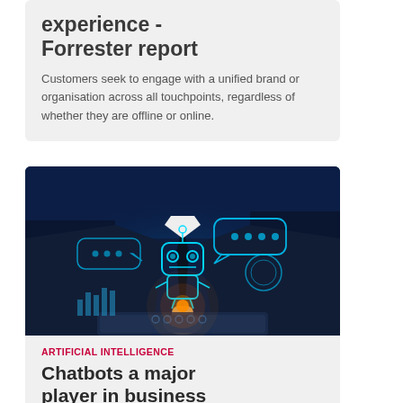experience - Forrester report
Customers seek to engage with a unified brand or organisation across all touchpoints, regardless of whether they are offline or online.
[Figure (photo): Person in suit holding a tablet with a glowing AI chatbot robot icon and digital interface elements floating above it, blue-toned technology image]
ARTIFICIAL INTELLIGENCE
Chatbots a major player in business growth according